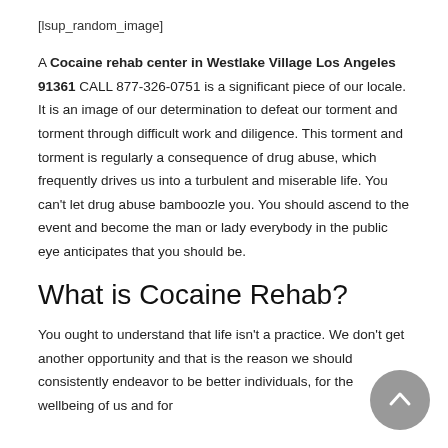[lsup_random_image]
A Cocaine rehab center in Westlake Village Los Angeles 91361 CALL 877-326-0751 is a significant piece of our locale. It is an image of our determination to defeat our torment and torment through difficult work and diligence. This torment and torment is regularly a consequence of drug abuse, which frequently drives us into a turbulent and miserable life. You can't let drug abuse bamboozle you. You should ascend to the event and become the man or lady everybody in the public eye anticipates that you should be.
What is Cocaine Rehab?
You ought to understand that life isn't a practice. We don't get another opportunity and that is the reason we should consistently endeavor to be better individuals, for the wellbeing of us and for